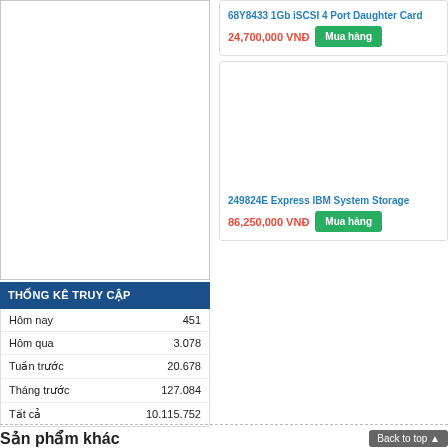[Figure (photo): White empty product image area (left column top)]
THỐNG KÊ TRUY CẬP
|  |  |
| --- | --- |
| Hôm nay | 451 |
| Hôm qua | 3.078 |
| Tuần trước | 20.678 |
| Tháng trước | 127.084 |
| Tất cả | 10.115.752 |
68Y8433 1Gb iSCSI 4 Port Daughter Card
24,700,000 VNĐ
[Figure (photo): White empty product image area for second product card]
249824E Express IBM System Storage
86,250,000 VNĐ
Sản phẩm khác